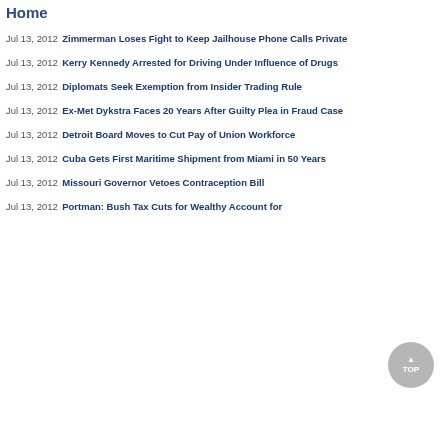Home
Jul 13, 2012 Zimmerman Loses Fight to Keep Jailhouse Phone Calls Private
Jul 13, 2012 Kerry Kennedy Arrested for Driving Under Influence of Drugs
Jul 13, 2012 Diplomats Seek Exemption from Insider Trading Rule
Jul 13, 2012 Ex-Met Dykstra Faces 20 Years After Guilty Plea in Fraud Case
Jul 13, 2012 Detroit Board Moves to Cut Pay of Union Workforce
Jul 13, 2012 Cuba Gets First Maritime Shipment from Miami in 50 Years
Jul 13, 2012 Missouri Governor Vetoes Contraception Bill
Jul 13, 2012 Portman: Bush Tax Cuts for Wealthy Account for